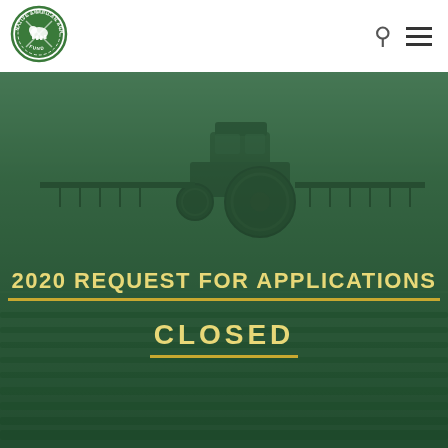[Figure (logo): Native American Agriculture Fund circular badge logo in green and white, with crossed tools and bison imagery]
[Figure (photo): Agricultural field scene with a green tractor/sprayer in a green crop field, overlaid with a dark green tint]
2020 REQUEST FOR APPLICATIONS
CLOSED